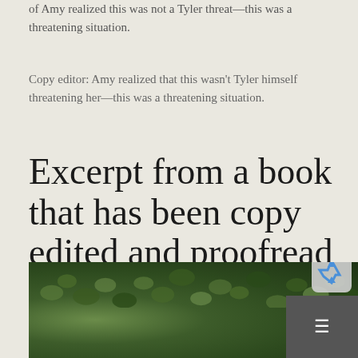of Amy realized this was not a Tyler threat—this was a threatening situation.
Copy editor: Amy realized that this wasn't Tyler himself threatening her—this was a threatening situation.
Excerpt from a book that has been copy edited and proofread
[Figure (photo): A dense hedge or shrub with green leaves, photographed close-up.]